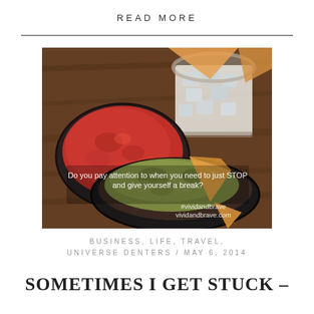READ MORE
[Figure (photo): Photo of Mexican food: a bowl of guacamole with chips, a bowl of red salsa, and a margarita glass with ice on a wooden table. Overlaid text reads: 'Do you pay attention to when you need to just STOP and give yourself a break? #vividandbrave vividandbrave.com']
BUSINESS, LIFE, TRAVEL, UNIVERSE DENTERS / MAY 6, 2014
SOMETIMES I GET STUCK –